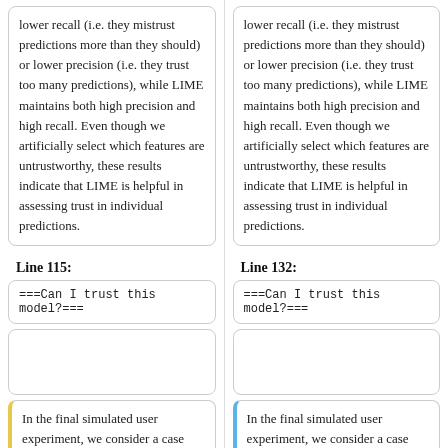lower recall (i.e. they mistrust predictions more than they should) or lower precision (i.e. they trust too many predictions), while LIME maintains both high precision and high recall. Even though we artificially select which features are untrustworthy, these results indicate that LIME is helpful in assessing trust in individual predictions.
lower recall (i.e. they mistrust predictions more than they should) or lower precision (i.e. they trust too many predictions), while LIME maintains both high precision and high recall. Even though we artificially select which features are untrustworthy, these results indicate that LIME is helpful in assessing trust in individual predictions.
Line 115:
Line 132:
===Can I trust this model?===
===Can I trust this model?===
In the final simulated user experiment, we consider a case
In the final simulated user experiment, we consider a case